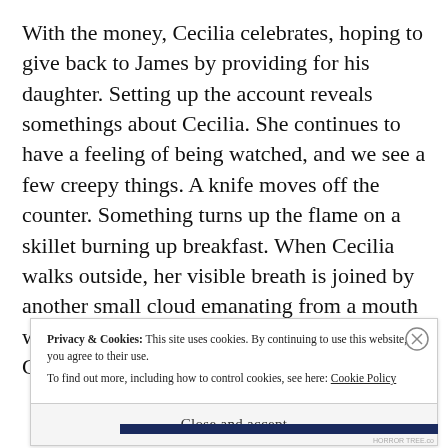With the money, Cecilia celebrates, hoping to give back to James by providing for his daughter. Setting up the account reveals somethings about Cecilia. She continues to have a feeling of being watched, and we see a few creepy things. A knife moves off the counter. Something turns up the flame on a skillet burning up breakfast. When Cecilia walks outside, her visible breath is joined by another small cloud emanating from a mouth we can't see.
C
Privacy & Cookies: This site uses cookies. By continuing to use this website, you agree to their use.
To find out more, including how to control cookies, see here: Cookie Policy
Close and accept